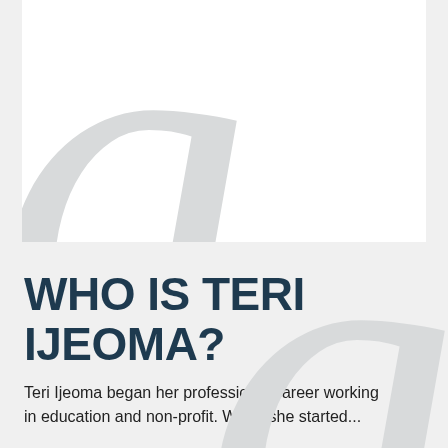[Figure (illustration): Large decorative italic letter 'g' watermark in light gray, partially inside a white box and extending below]
WHO IS TERI IJEOMA?
Teri Ijeoma began her professional career working in education and non-profit. When she started...